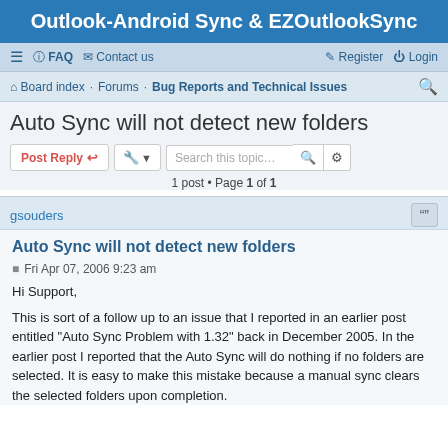Outlook-Android Sync & EZOutlookSync
≡  FAQ  Contact us  Register  Login
Board index · Forums · Bug Reports and Technical Issues
Auto Sync will not detect new folders
Post Reply  [tools]  Search this topic…  [search] [advanced]
1 post • Page 1 of 1
gsouders
Auto Sync will not detect new folders
Fri Apr 07, 2006 9:23 am
Hi Support,
This is sort of a follow up to an issue that I reported in an earlier post entitled "Auto Sync Problem with 1.32" back in December 2005. In the earlier post I reported that the Auto Sync will do nothing if no folders are selected. It is easy to make this mistake because a manual sync clears the selected folders upon completion.